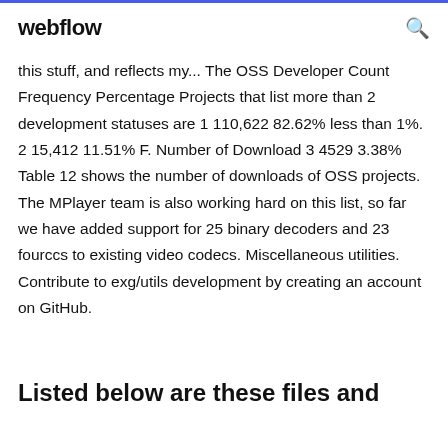webflow
this stuff, and reflects my... The OSS Developer Count Frequency Percentage Projects that list more than 2 development statuses are 1 110,622 82.62% less than 1%. 2 15,412 11.51% F. Number of Download 3 4529 3.38% Table 12 shows the number of downloads of OSS projects. The MPlayer team is also working hard on this list, so far we have added support for 25 binary decoders and 23 fourccs to existing video codecs. Miscellaneous utilities. Contribute to exg/utils development by creating an account on GitHub.
Listed below are these files and